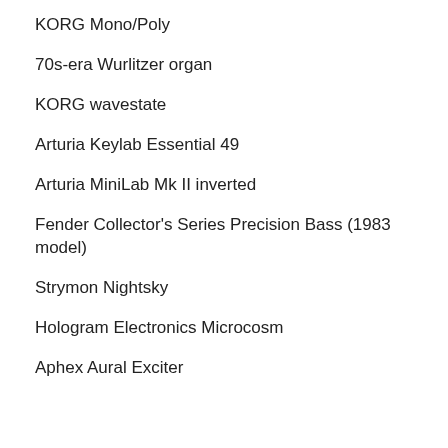KORG Mono/Poly
70s-era Wurlitzer organ
KORG wavestate
Arturia Keylab Essential 49
Arturia MiniLab Mk II inverted
Fender Collector's Series Precision Bass (1983 model)
Strymon Nightsky
Hologram Electronics Microcosm
Aphex Aural Exciter